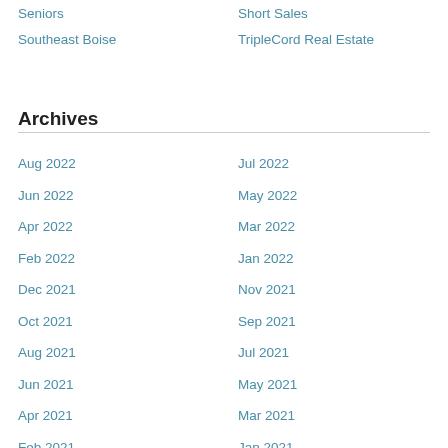Seniors
Short Sales
Southeast Boise
TripleCord Real Estate
Archives
Aug 2022
Jul 2022
Jun 2022
May 2022
Apr 2022
Mar 2022
Feb 2022
Jan 2022
Dec 2021
Nov 2021
Oct 2021
Sep 2021
Aug 2021
Jul 2021
Jun 2021
May 2021
Apr 2021
Mar 2021
Feb 2021
Jan 2021
Dec 2020
Nov 2020